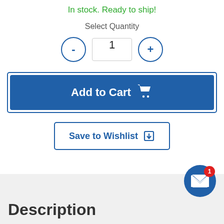In stock. Ready to ship!
Select Quantity
[Figure (screenshot): Quantity selector with minus button, input field showing 1, and plus button]
[Figure (screenshot): Add to Cart button (blue, full width) with shopping cart icon]
[Figure (screenshot): Save to Wishlist button (white with blue border) with download icon]
Description
[Figure (screenshot): Mail notification icon circle (blue) with badge showing count 1]